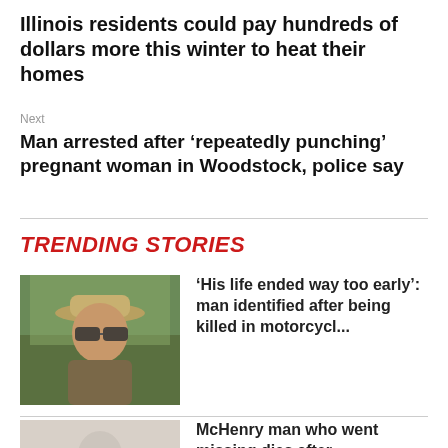Illinois residents could pay hundreds of dollars more this winter to heat their homes
Next
Man arrested after ‘repeatedly punching’ pregnant woman in Woodstock, police say
TRENDING STORIES
[Figure (photo): Photo of a man wearing sunglasses and a hat, outdoors]
‘His life ended way too early’: man identified after being killed in motorcycl...
[Figure (photo): Photo of a person, partially faded]
McHenry man who went missing dies after being found in Chicago